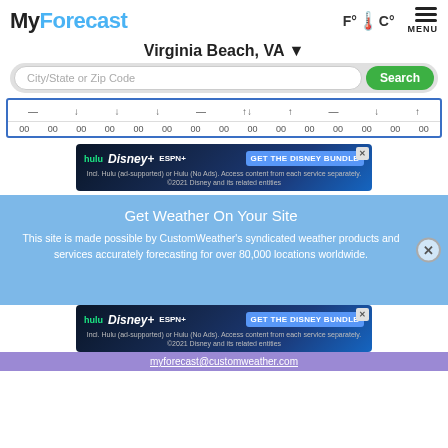MyForecast
Virginia Beach, VA
City/State or Zip Code
Search
[Figure (screenshot): Hourly forecast strip with weather icons and 00 time labels]
[Figure (screenshot): Hulu Disney+ ESPN+ GET THE DISNEY BUNDLE advertisement banner 1]
Get Weather On Your Site
This site is made possible by CustomWeather's syndicated weather products and services accurately forecasting for over 80,000 locations worldwide.
[Figure (screenshot): Hulu Disney+ ESPN+ GET THE DISNEY BUNDLE advertisement banner 2]
myforecast@customweather.com